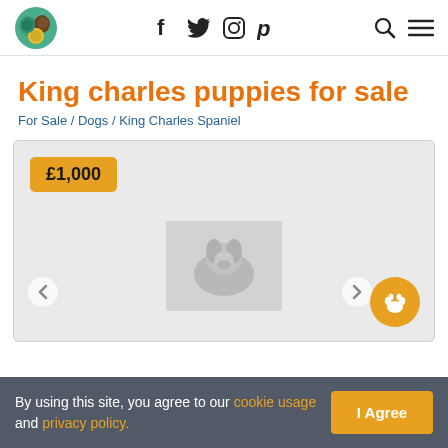[Figure (logo): Pet website logo: circular icon with cartoon animals (teal, brown, yellow)]
f  y  (instagram)  p   (search icon)  (menu icon)
King charles puppies for sale
For Sale / Dogs / King Charles Spaniel
[Figure (photo): Listing image card showing price tag £1,000 over a grey placeholder with a partially visible puppy photo in the center, left/right navigation arrows, and an orange paw print circle icon.]
By using this site, you agree to our cookie usage and privacy policy.